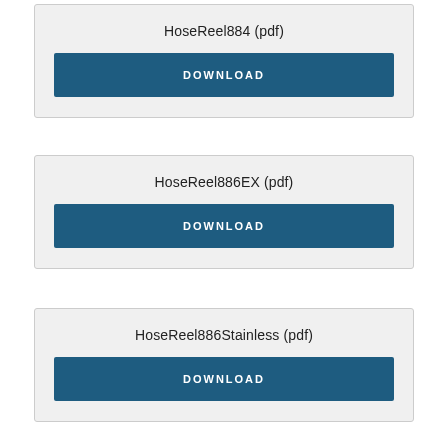HoseReel884 (pdf)
DOWNLOAD
HoseReel886EX (pdf)
DOWNLOAD
HoseReel886Stainless (pdf)
DOWNLOAD